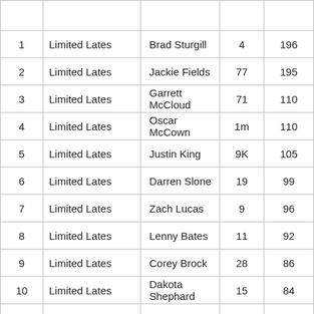| # | Class | Name | Car # | Pts |
| --- | --- | --- | --- | --- |
|  |  |  |  |  |
| 1 | Limited Lates | Brad Sturgill | 4 | 196 |
| 2 | Limited Lates | Jackie Fields | 77 | 195 |
| 3 | Limited Lates | Garrett McCloud | 71 | 110 |
| 4 | Limited Lates | Oscar McCown | 1m | 110 |
| 5 | Limited Lates | Justin King | 9K | 105 |
| 6 | Limited Lates | Darren Slone | 19 | 99 |
| 7 | Limited Lates | Zach Lucas | 9 | 96 |
| 8 | Limited Lates | Lenny Bates | 11 | 92 |
| 9 | Limited Lates | Corey Brock | 28 | 86 |
| 10 | Limited Lates | Dakota Shephard | 15 | 84 |
|  |  |  |  |  |
| 1 | Open Wheel Modifieds | Jacob Hall | 43J |  |